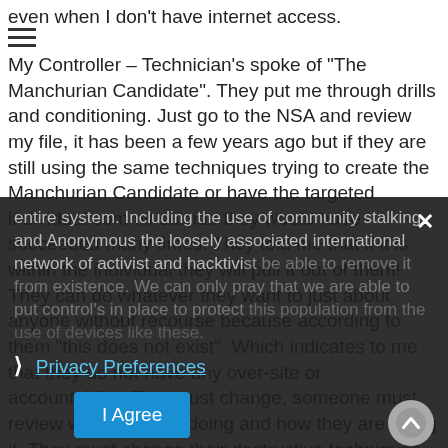even when I don't have internet access.
My Controller – Technician's spoke of "The Manchurian Candidate". They put me through drills and conditioning. Just go to the NSA and review my file, it has been a few years ago but if they are still using the same techniques trying to create the Manchurian Candidate or have the targeted individual commit suicide they would have succeeded many times. They told me that if it is within the individual they will pull it out of them! They can do whatever they want to just about anyone without recourse because according to them "this does not exist". Which indicates to me that they do not have any over-site or accountability. This must change, someone must review what they are doing and how they are doing it. They must change their destructive techniques that I believe to have been in place for a very long time. It needs a complete overhaul and update of the entire system. Including the use of community stalking and Anonymous the loosely associated international network of activist and hacktivist be able to remove it from existence. We can only pray that we are able to put control's in place to protect this population from the use of devices like these.
Privacy Preferences | I Agree